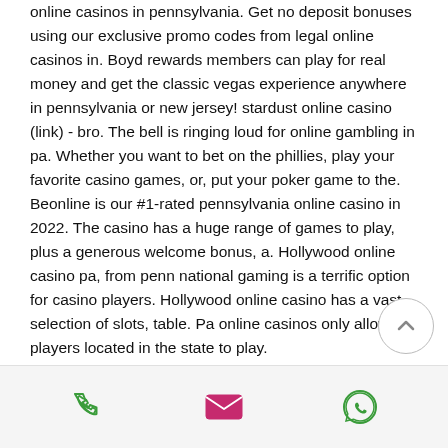online casinos in pennsylvania. Get no deposit bonuses using our exclusive promo codes from legal online casinos in. Boyd rewards members can play for real money and get the classic vegas experience anywhere in pennsylvania or new jersey! stardust online casino (link) - bro. The bell is ringing loud for online gambling in pa. Whether you want to bet on the phillies, play your favorite casino games, or, put your poker game to the. Beonline is our #1-rated pennsylvania online casino in 2022. The casino has a huge range of games to play, plus a generous welcome bonus, a. Hollywood online casino pa, from penn national gaming is a terrific option for casino players. Hollywood online casino has a vast selection of slots, table. Pa online casinos only allow players located in the state to play.
[Figure (other): Mobile app bottom navigation bar with phone, email, and WhatsApp icons]